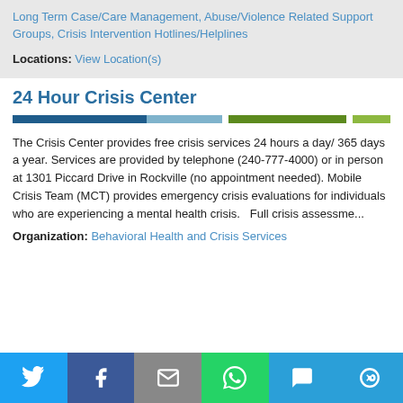Long Term Case/Care Management, Abuse/Violence Related Support Groups, Crisis Intervention Hotlines/Helplines
Locations: View Location(s)
24 Hour Crisis Center
[Figure (infographic): Horizontal segmented color bar: dark blue, light blue, gap, dark green, gap, light green]
The Crisis Center provides free crisis services 24 hours a day/ 365 days a year. Services are provided by telephone (240-777-4000) or in person at 1301 Piccard Drive in Rockville (no appointment needed). Mobile Crisis Team (MCT) provides emergency crisis evaluations for individuals who are experiencing a mental health crisis.   Full crisis assessme...
Organization: Behavioral Health and Crisis Services
[Figure (infographic): Social share bar with Twitter, Facebook, Email, WhatsApp, SMS, and More buttons]